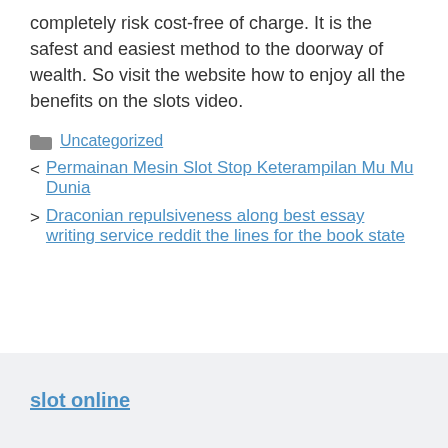completely risk cost-free of charge. It is the safest and easiest method to the doorway of wealth. So visit the website how to enjoy all the benefits on the slots video.
Uncategorized
< Permainan Mesin Slot Stop Keterampilan Mu Mu Dunia
> Draconian repulsiveness along best essay writing service reddit the lines for the book state
slot online